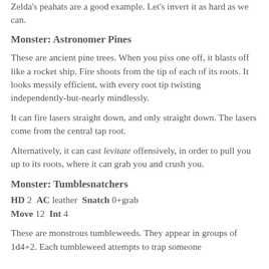Zelda's peahats are a good example.  Let's invert it as hard as we can.
Monster: Astronomer Pines
These are ancient pine trees.  When you piss one off, it blasts off like a rocket ship.  Fire shoots from the tip of each of its roots.  It looks messily efficient, with every root tip twisting independently-but-nearly mindlessly.
It can fire lasers straight down, and only straight down.  The lasers come from the central tap root.
Alternatively, it can cast levitate offensively, in order to pull you up to its roots, where it can grab you and crush you.
Monster: Tumblesnatchers
HD 2  AC leather  Snatch 0+grab
Move 12  Int 4
These are monstrous tumbleweeds.  They appear in groups of 1d4+2.  Each tumbleweed attempts to trap someone